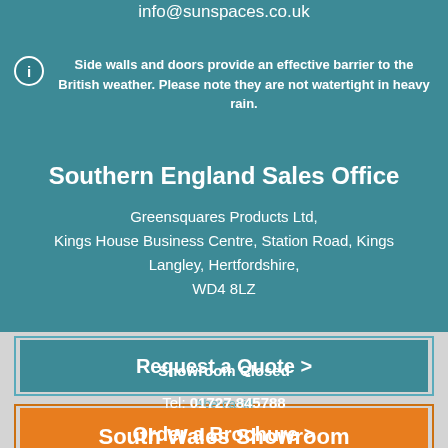info@sunspaces.co.uk
Side walls and doors provide an effective barrier to the British weather. Please note they are not watertight in heavy rain.
Southern England Sales Office
Greensquares Products Ltd, Kings House Business Centre, Station Road, Kings Langley, Hertfordshire, WD4 8LZ
Showroom Closed
Tel: 01727 845788
South Wales Showroom
Request a Quote >
Abercaaid
Order a Brochure >
Opening Hours